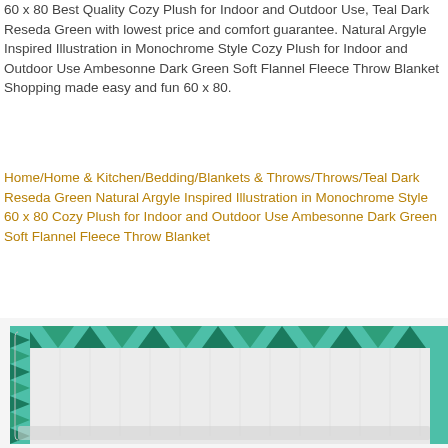60 x 80 Best Quality Cozy Plush for Indoor and Outdoor Use, Teal Dark Reseda Green with lowest price and comfort guarantee. Natural Argyle Inspired Illustration in Monochrome Style Cozy Plush for Indoor and Outdoor Use Ambesonne Dark Green Soft Flannel Fleece Throw Blanket Shopping made easy and fun 60 x 80.
Home/Home & Kitchen/Bedding/Blankets & Throws/Throws/Teal Dark Reseda Green Natural Argyle Inspired Illustration in Monochrome Style 60 x 80 Cozy Plush for Indoor and Outdoor Use Ambesonne Dark Green Soft Flannel Fleece Throw Blanket
[Figure (photo): A folded fleece throw blanket with a teal and dark green argyle/triangle pattern border and a soft white/grey interior, shown from the front-bottom corner angle.]